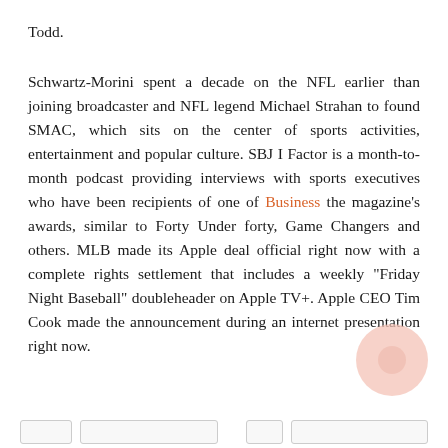Todd.
Schwartz-Morini spent a decade on the NFL earlier than joining broadcaster and NFL legend Michael Strahan to found SMAC, which sits on the center of sports activities, entertainment and popular culture. SBJ I Factor is a month-to-month podcast providing interviews with sports executives who have been recipients of one of Business the magazine's awards, similar to Forty Under forty, Game Changers and others. MLB made its Apple deal official right now with a complete rights settlement that includes a weekly "Friday Night Baseball" doubleheader on Apple TV+. Apple CEO Tim Cook made the announcement during an internet presentation right now.